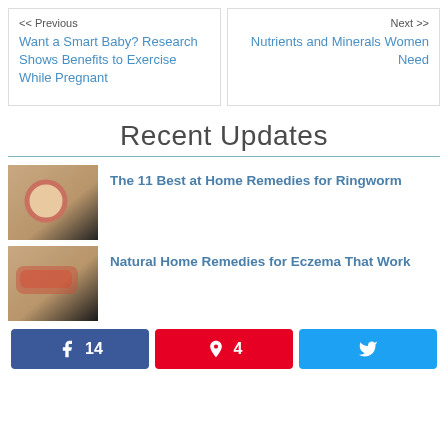<< Previous
Want a Smart Baby? Research Shows Benefits to Exercise While Pregnant
Next >>
Nutrients and Minerals Women Need
Recent Updates
The 11 Best at Home Remedies for Ringworm
Natural Home Remedies for Eczema That Work
14  4